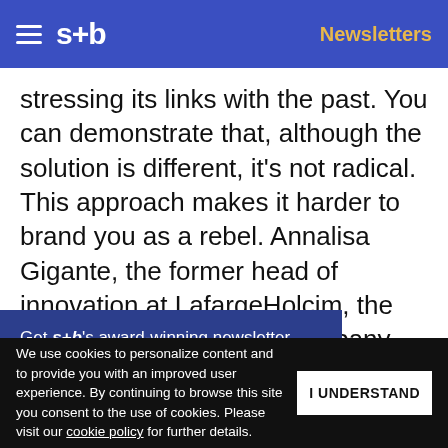s+b  Newsletters
stressing its links with the past. You can demonstrate that, although the solution is different, it’s not radical. This approach makes it harder to brand you as a rebel. Annalisa Gigante, the former head of innovation at LafargeHolcim, the world’s largest cement company, cites this as her biggest lesson (from painful experience) in pushing innovative ideas. If you can propose an idea
Get s+b’s award-winning newsletter delivered to your inbox.
We use cookies to personalize content and to provide you with an improved user experience. By continuing to browse this site you consent to the use of cookies. Please visit our cookie policy for further details.